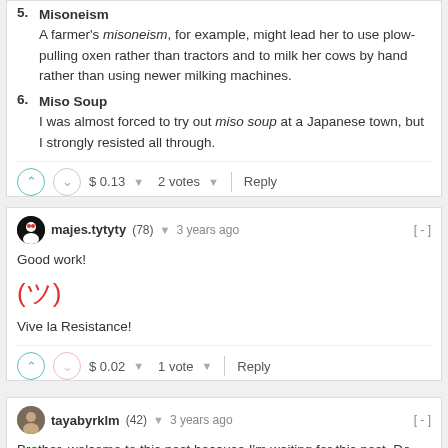5. Misoneism
A farmer's misoneism, for example, might lead her to use plow-pulling oxen rather than tractors and to milk her cows by hand rather than using newer milking machines.
6. Miso Soup
I was almost forced to try out miso soup at a Japanese town, but I strongly resisted all through.
$ 0.13  2 votes  Reply
majes.tytyty (78)  3 years ago  [-]
Good work!
(ツ)
Vive la Resistance!
$ 0.02  1 vote  Reply
tayabyrklm (42)  3 years ago  [-]
Brother, welcome to this post because I'm waiting for this post. Do you like this post everyday. Thanks to you